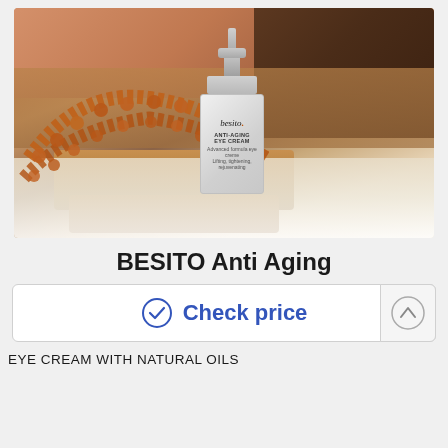[Figure (photo): Product photo of BESITO Anti-Aging Eye Cream bottle, a white pump dispenser with silver accents, placed on wooden blocks with orange rudraksha beads, on a white fur surface, with dark-skinned person visible in background]
BESITO Anti Aging
✓ Check price
EYE CREAM WITH NATURAL OILS